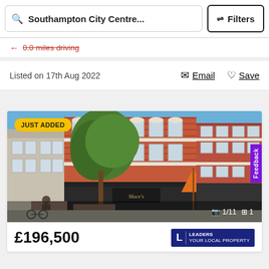Southampton City Centre...
Filters
0.0 miles driving
Listed on 17th Aug 2022
Email
Save
[Figure (photo): Street-level photo of a Victorian red-brick building with shops and outdoor seating. Badge reads JUST ADDED. Image counter shows 1/11 and floor plan icon shows 1.]
JUST ADDED
1/11
1
£196,500
LEADERS
Feedback